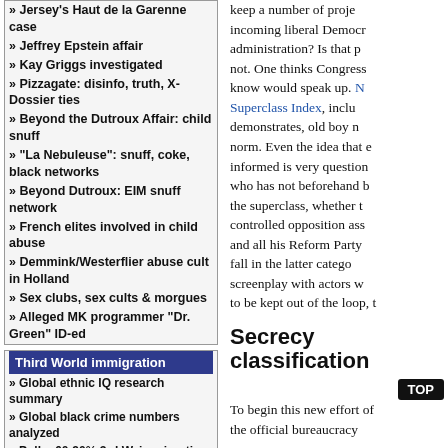Jersey's Haut de la Garenne case
Jeffrey Epstein affair
Kay Griggs investigated
Pizzagate: disinfo, truth, X-Dossier ties
Beyond the Dutroux Affair: child snuff
"La Nebuleuse": snuff, coke, black networks
Beyond Dutroux: EIM snuff network
French elites involved in child abuse
Demmink/Westerflier abuse cult in Holland
Sex clubs, sex cults & morgues
Alleged MK programmer "Dr. Green" ID-ed
Third World immigration
Global ethnic IQ research summary
Global black crime numbers analyzed
Polls: 60-90% 3rd W. immigration opposition
Polls on everyday Muslim extremism
Elites financing pro-immigration protests
Dutch Muslims: group sexual assault issue
95% of Oslo street rapes by Arabs/blacks
Media: list of white guilt tactics used
Remaining
Convential oil has peaked: the numbers
Multinational Chairman's Group
Top 400 curious deaths
keep a number of projects incoming liberal Democrat administration? Is that not. One thinks Congress know would speak up. Superclass Index, includes demonstrates, old boy norm. Even the idea that informed is very question who has not beforehand the superclass, whether controlled opposition as and all his Reform Party fall in the latter categ screenplay with actors w to be kept out of the loop,
Secrecy classification
To begin this new effort of the official bureaucracy